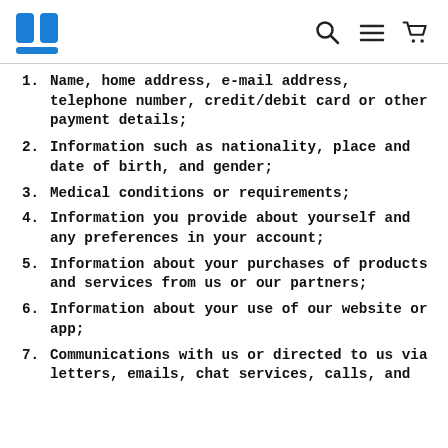Logo and navigation icons
Name, home address, e-mail address, telephone number, credit/debit card or other payment details;
Information such as nationality, place and date of birth, and gender;
Medical conditions or requirements;
Information you provide about yourself and any preferences in your account;
Information about your purchases of products and services from us or our partners;
Information about your use of our website or app;
Communications with us or directed to us via letters, emails, chat services, calls, and